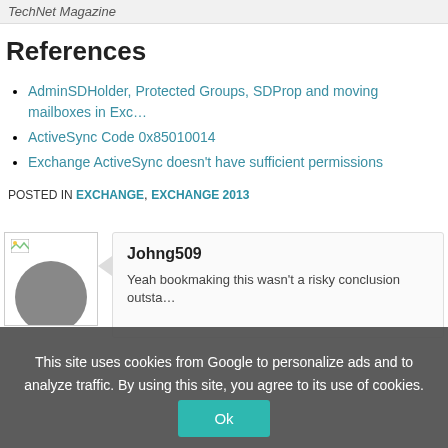TechNet Magazine
References
AdminSDHolder, Protected Groups, SDProp and moving mailboxes in Exc…
ActiveSync Code 0x85010014
Exchange ActiveSync doesn't have sufficient permissions
POSTED IN EXCHANGE, EXCHANGE 2013
[Figure (photo): User avatar placeholder showing a grey circle on white background with small image icon]
Johng509
Yeah bookmaking this wasn't a risky conclusion outsta…
This site uses cookies from Google to personalize ads and to analyze traffic. By using this site, you agree to its use of cookies.